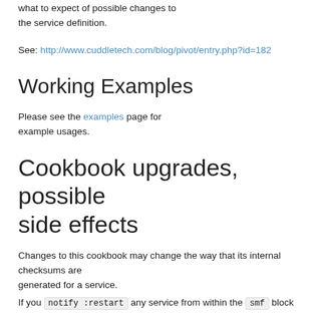This is for reference more than anything, so that administrators of a service know what to expect of possible changes to the service definition.
See: http://www.cuddletech.com/blog/pivot/entry.php?id=182
Working Examples
Please see the examples page for example usages.
Cookbook upgrades, possible side effects
Changes to this cookbook may change the way that its internal checksums are generated for a service. If you notify :restart any service from within the smf block or include a refresh_command , please be aware that upgrading this cookbook may trigger a refresh or a registered notification on the first subsequent chef run.